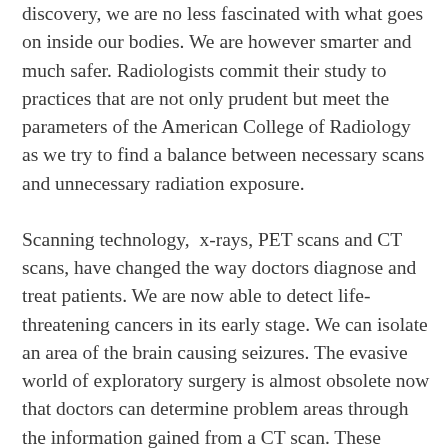discovery, we are no less fascinated with what goes on inside our bodies. We are however smarter and much safer. Radiologists commit their study to practices that are not only prudent but meet the parameters of the American College of Radiology as we try to find a balance between necessary scans and unnecessary radiation exposure.
Scanning technology,  x-rays, PET scans and CT scans, have changed the way doctors diagnose and treat patients. We are now able to detect life-threatening cancers in its early stage. We can isolate an area of the brain causing seizures. The evasive world of exploratory surgery is almost obsolete now that doctors can determine problem areas through the information gained from a CT scan. These technologies have become invaluable diagnostic tools to the medical world.